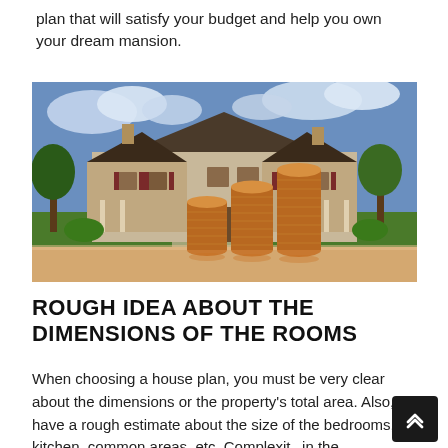plan that will satisfy your budget and help you own your dream mansion.
[Figure (photo): Photo of a large two-story house/mansion exterior with a green lawn and three stacks of coins in the foreground, suggesting real estate investment or mortgage savings.]
ROUGH IDEA ABOUT THE DIMENSIONS OF THE ROOMS
When choosing a house plan, you must be very clear about the dimensions or the property's total area. Also, have a rough estimate about the size of the bedrooms, kitchen, common areas, etc. Complexity in the dimensions of the property can boost your